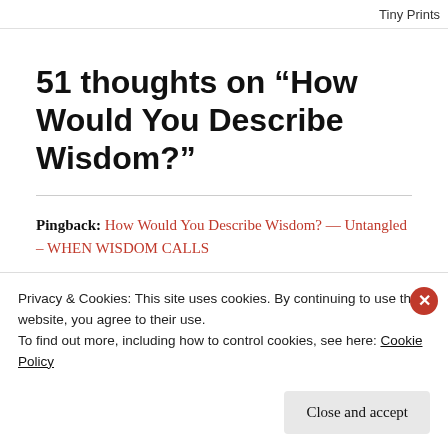Tiny Prints
51 thoughts on “How Would You Describe Wisdom?”
Pingback: How Would You Describe Wisdom? — Untangled – WHEN WISDOM CALLS
Alexis Rose
Privacy & Cookies: This site uses cookies. By continuing to use this website, you agree to their use.
To find out more, including how to control cookies, see here: Cookie Policy
Close and accept